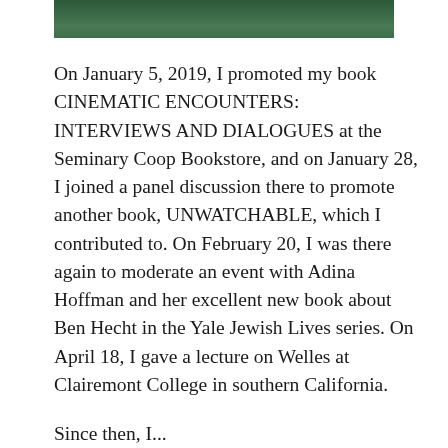[Figure (photo): Partial view of a photograph at the top of the page, showing a green/dark background, cropped.]
On January 5, 2019, I promoted my book CINEMATIC ENCOUNTERS: INTERVIEWS AND DIALOGUES at the Seminary Coop Bookstore, and on January 28, I joined a panel discussion there to promote another book, UNWATCHABLE, which I contributed to. On February 20, I was there again to moderate an event with Adina Hoffman and her excellent new book about Ben Hecht in the Yale Jewish Lives series. On April 18, I gave a lecture on Welles at Clairemont College in southern California.
Since then, I...